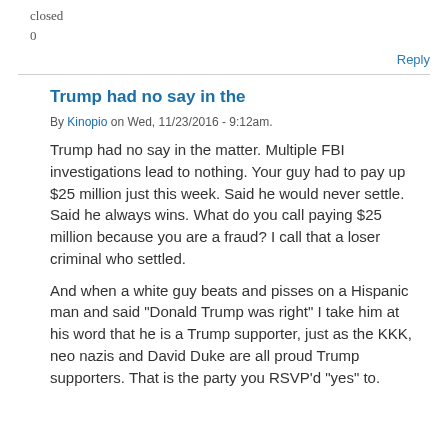closed
0
Reply
Trump had no say in the
By Kinopio on Wed, 11/23/2016 - 9:12am.
Trump had no say in the matter. Multiple FBI investigations lead to nothing. Your guy had to pay up $25 million just this week. Said he would never settle. Said he always wins. What do you call paying $25 million because you are a fraud? I call that a loser criminal who settled.
And when a white guy beats and pisses on a Hispanic man and said "Donald Trump was right" I take him at his word that he is a Trump supporter, just as the KKK, neo nazis and David Duke are all proud Trump supporters. That is the party you RSVP'd "yes" to.